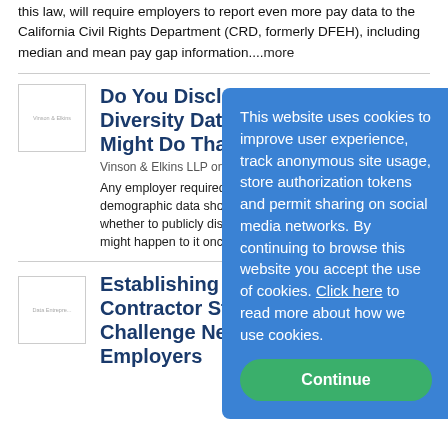this law, will require employers to report even more pay data to the California Civil Rights Department (CRD, formerly DFEH), including median and mean pay gap information....more
Do You Disclose Diversity Data? You Might Do That F...
Vinson & Elkins LLP on 8/31...
Any employer required to collect demographic data should be aware whether to publicly disclose that data and what might happen to it once it's...
Establishing Ind... Contractor Stat... Challenge New J... Employers
[Figure (other): Cookie consent overlay with blue background. Text: This website uses cookies to improve user experience, track anonymous site usage, store authorization tokens and permit sharing on social media networks. By continuing to browse this website you accept the use of cookies. Click here to read more about how we use cookies. Green Continue button at bottom.]